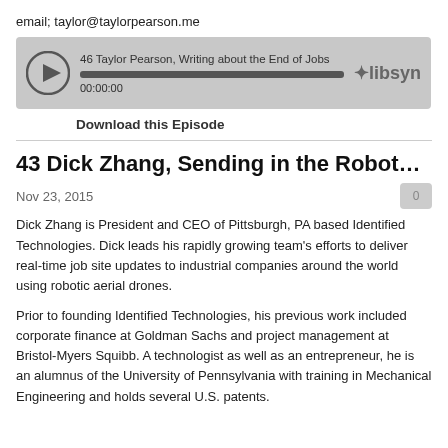email; taylor@taylorpearson.me
[Figure (screenshot): Audio player widget showing episode '46 Taylor Pearson, Writing about the End of Jobs' with play button, progress bar at 00:00:00, and Libsyn logo]
Download this Episode
43 Dick Zhang, Sending in the Robots with I...
Nov 23, 2015
Dick Zhang is President and CEO of Pittsburgh, PA based Identified Technologies. Dick leads his rapidly growing team's efforts to deliver real-time job site updates to industrial companies around the world using robotic aerial drones.
Prior to founding Identified Technologies, his previous work included corporate finance at Goldman Sachs and project management at Bristol-Myers Squibb. A technologist as well as an entrepreneur, he is an alumnus of the University of Pennsylvania with training in Mechanical Engineering and holds several U.S. patents.